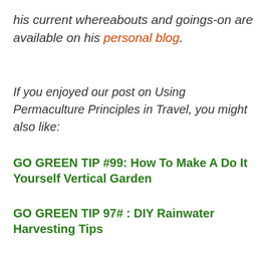his current whereabouts and goings-on are available on his personal blog.
If you enjoyed our post on Using Permaculture Principles in Travel, you might also like:
GO GREEN TIP #99: How To Make A Do It Yourself Vertical Garden
GO GREEN TIP 97# : DIY Rainwater Harvesting Tips